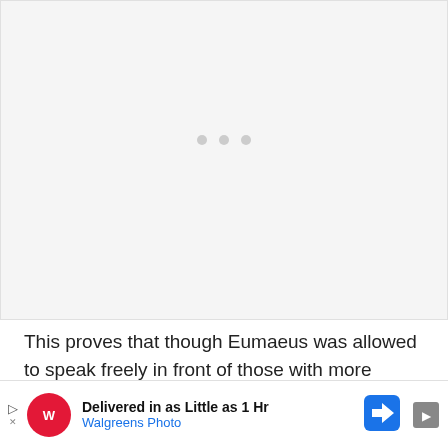[Figure (other): Large blank/loading image placeholder with three grey dots centered, indicating an image that has not loaded yet]
This proves that though Eumaeus was allowed to speak freely in front of those with more power than him, he was often viewed as unimportant – loyal, but his opinions were not always considered and full...
[Figure (other): Walgreens Photo advertisement banner: 'Delivered in as Little as 1 Hr' with Walgreens logo and navigation icon]